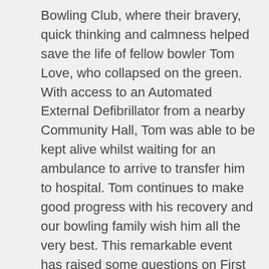Bowling Club, where their bravery, quick thinking and calmness helped save the life of fellow bowler Tom Love, who collapsed on the green. With access to an Automated External Defibrillator from a nearby Community Hall, Tom was able to be kept alive whilst waiting for an ambulance to arrive to transfer him to hospital. Tom continues to make good progress with his recovery and our bowling family wish him all the very best. This remarkable event has raised some questions on First Aid and AED access within clubs. We are keen to look into how we can support clubs in this area and thank you to the 135 clubs who have already completed our information gathering survey. If your club has not already completed the survey we launched, I would encourage you to do this as soon as